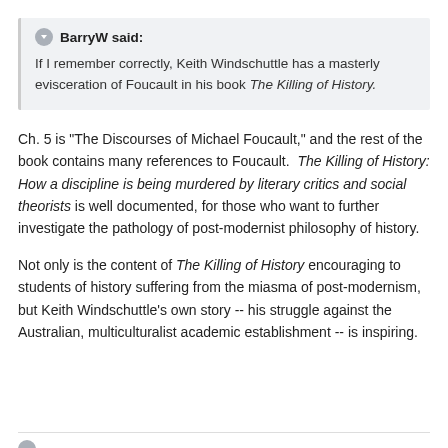BarryW said:
If I remember correctly, Keith Windschuttle has a masterly evisceration of Foucault in his book The Killing of History.
Ch. 5 is "The Discourses of Michael Foucault," and the rest of the book contains many references to Foucault. The Killing of History: How a discipline is being murdered by literary critics and social theorists is well documented, for those who want to further investigate the pathology of post-modernist philosophy of history.
Not only is the content of The Killing of History encouraging to students of history suffering from the miasma of post-modernism, but Keith Windschuttle's own story -- his struggle against the Australian, multiculturalist academic establishment -- is inspiring.